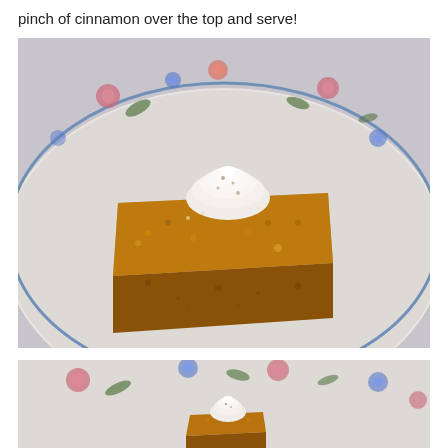pinch of cinnamon over the top and serve!
[Figure (photo): A square slice of pumpkin or spice cake topped with a swirl of whipped cream dusted with cinnamon, served on a decorative floral china plate with a light gray/lavender background.]
[Figure (photo): A wider-angle view of a similar square piece of spice cake with whipped cream on the same floral china plate, showing more of the plate's decorative border.]